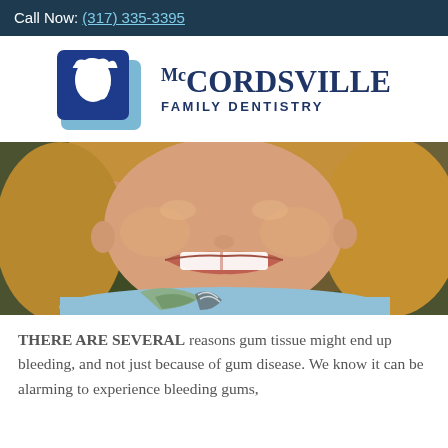Call Now: (317) 335-3395
[Figure (logo): McCordsville Family Dentistry logo with tooth icon on blue square background and serif text]
[Figure (photo): Close-up photo of a young girl smiling showing teeth, wearing a light blue top and floral scarf]
THERE ARE SEVERAL reasons gum tissue might end up bleeding, and not just because of gum disease. We know it can be alarming to experience bleeding gums,